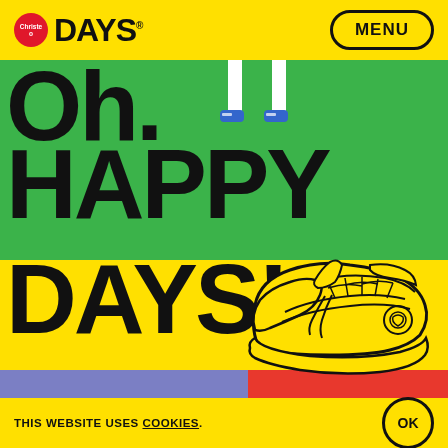Christea DAYS® — MENU
[Figure (illustration): Colorful webpage screenshot with yellow, green, purple and red background blocks. Large bold text reads 'Oh Happy Days!' with a cartoon sneaker illustration. Christea DAYS® branding in header with MENU button.]
THIS WEBSITE USES COOKIES. OK